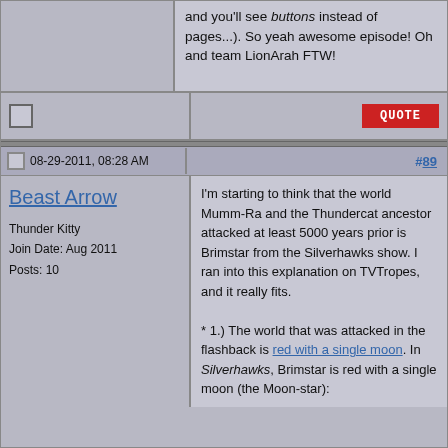and you'll see buttons instead of pages...). So yeah awesome episode! Oh and team LionArah FTW!
08-29-2011, 08:28 AM
#89
Beast Arrow
Thunder Kitty
Join Date: Aug 2011
Posts: 10
I'm starting to think that the world Mumm-Ra and the Thundercat ancestor attacked at least 5000 years prior is Brimstar from the Silverhawks show. I ran into this explanation on TVTropes, and it really fits.

* 1.) The world that was attacked in the flashback is red with a single moon. In Silverhawks, Brimstar is red with a single moon (the Moon-star):